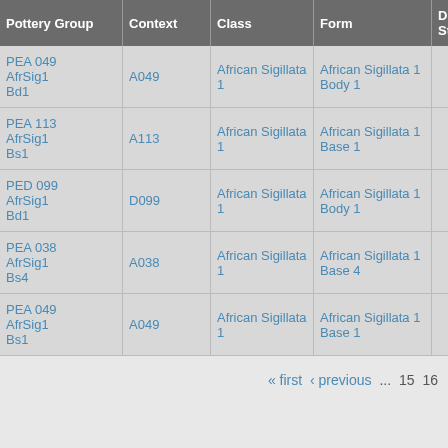| Pottery Group | Context | Class | Form | Depos Status | R Ct | R EV |
| --- | --- | --- | --- | --- | --- | --- |
| PEA 049 AfrSig1 Bd1 | A049 | African Sigillata 1 | African Sigillata 1 Body 1 | 4 |  |  |
| PEA 113 AfrSig1 Bs1 | A113 | African Sigillata 1 | African Sigillata 1 Base 1 | 4 |  |  |
| PED 099 AfrSig1 Bd1 | D099 | African Sigillata 1 | African Sigillata 1 Body 1 | 4 |  |  |
| PEA 038 AfrSig1 Bs4 | A038 | African Sigillata 1 | African Sigillata 1 Base 4 | 4 |  |  |
| PEA 049 AfrSig1 Bs1 | A049 | African Sigillata 1 | African Sigillata 1 Base 1 | 4 |  |  |
« first  ‹ previous  ...  15  16